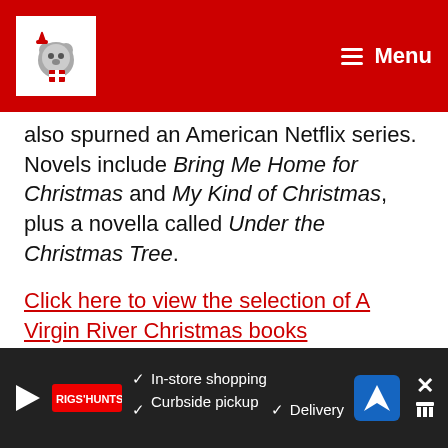Menu
also spurned an American Netflix series. Novels include Bring Me Home for Christmas and My Kind of Christmas, plus a novella called Under the Christmas Tree.
Click here to view the selection of A Virgin River Christmas books
Letters from Father Christmas
This one for adults or older kids comes from Lord of the Rings and The Hobbit author J R R Tolkien. It contains a series of letters, each
[Figure (other): Advertisement banner with play button, brand logo, checkmarks listing In-store shopping, Curbside pickup, Delivery, navigation arrow icon, and close button]